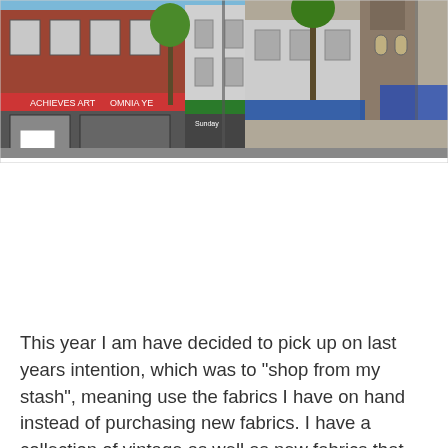[Figure (photo): Street-level photograph of a row of commercial/retail buildings along a main street, showing brick and rendered facades with shop awnings, trees, and a church tower visible in the background under a blue sky.]
This year I am have decided to pick up on last years intention, which was to "shop from my stash", meaning use the fabrics I have on hand instead of purchasing new fabrics. I have a collection of vintage as well as new fabrics that need the opportunity to be made into something that can be used and enjoyed instead of sitting on a shelf or in a basket. It lends the opportunity for creativity and to make one of a kind items when working with materials and haberdashery that is